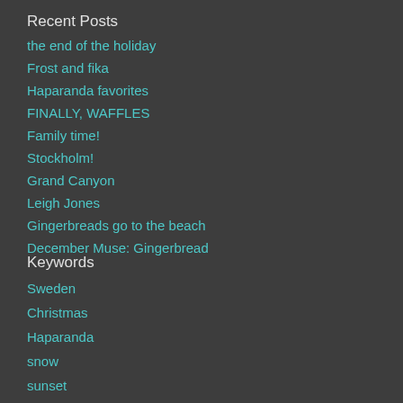Recent Posts
the end of the holiday
Frost and fika
Haparanda favorites
FINALLY, WAFFLES
Family time!
Stockholm!
Grand Canyon
Leigh Jones
Gingerbreads go to the beach
December Muse: Gingerbread
Keywords
Sweden
Christmas
Haparanda
snow
sunset
fika
Stockholm